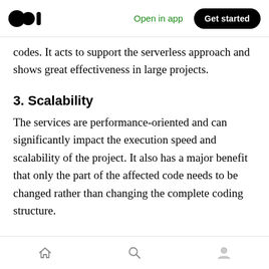Open in app  Get started
codes. It acts to support the serverless approach and shows great effectiveness in large projects.
3. Scalability
The services are performance-oriented and can significantly impact the execution speed and scalability of the project. It also has a major benefit that only the part of the affected code needs to be changed rather than changing the complete coding structure.
4. Reusability